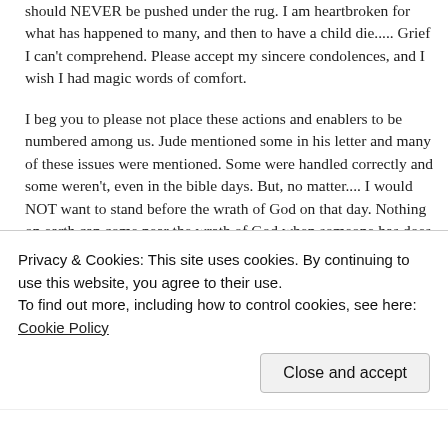should NEVER be pushed under the rug. I am heartbroken for what has happened to many, and then to have a child die..... Grief I can't comprehend. Please accept my sincere condolences, and I wish I had magic words of comfort.
I beg you to please not place these actions and enablers to be numbered among us. Jude mentioned some in his letter and many of these issues were mentioned. Some were handled correctly and some weren't, even in the bible days. But, no matter.... I would NOT want to stand before the wrath of God on that day. Nothing on earth can come near the wrath of God when someone has does something to HIS child. Please, keep looking to Jesus and this is NOT what his beautiful way is about. Many Christians
Privacy & Cookies: This site uses cookies. By continuing to use this website, you agree to their use.
To find out more, including how to control cookies, see here: Cookie Policy